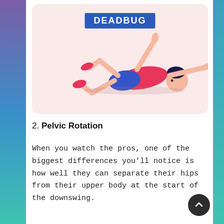[Figure (illustration): Illustration of a person performing the deadbug exercise, lying on their back with arms and legs raised, wearing blue shorts and a red top. There is a blue rectangular label above reading DEADBUG on a pink/rose background card.]
2. Pelvic Rotation
When you watch the pros, one of the biggest differences you'll notice is how well they can separate their hips from their upper body at the start of the downswing.